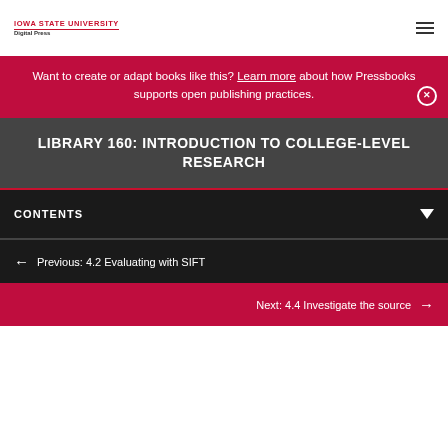IOWA STATE UNIVERSITY Digital Press
Want to create or adapt books like this? Learn more about how Pressbooks supports open publishing practices.
LIBRARY 160: INTRODUCTION TO COLLEGE-LEVEL RESEARCH
CONTENTS
Previous: 4.2 Evaluating with SIFT
Next: 4.4 Investigate the source